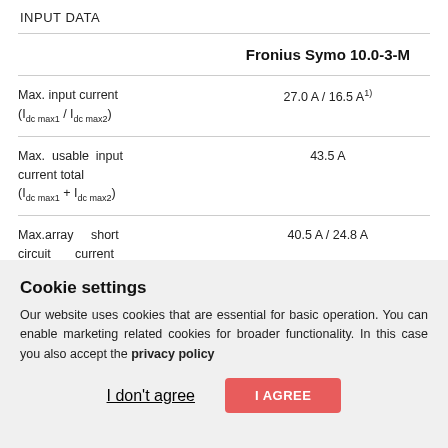INPUT DATA
|  | Fronius Symo 10.0-3-M |
| --- | --- |
| Max. input current (Idc max1 / Idc max2) | 27.0 A / 16.5 A1) |
| Max. usable input current total (Idc max1 + Idc max2) | 43.5 A |
| Max.array short circuit current (MPP1 / MPP2) | 40.5 A / 24.8 A |
| Min. input voltage | 200 V |
Cookie settings
Our website uses cookies that are essential for basic operation. You can enable marketing related cookies for broader functionality. In this case you also accept the privacy policy
I don't agree | I AGREE